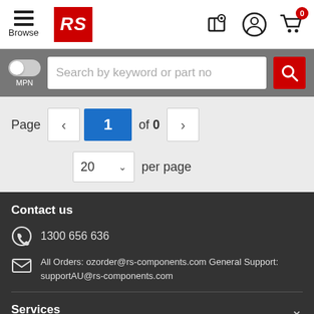[Figure (screenshot): RS Components website header with hamburger menu, Browse label, RS red logo, location pin icon, user account icon, and shopping cart with 0 badge]
[Figure (screenshot): Search bar with MPN toggle switch, search input placeholder 'Search by keyword or part no', and red search button]
Page  1  of 0   20  per page
Contact us
1300 656 636
All Orders: ozorder@rs-components.com General Support: supportAU@rs-components.com
Services
Legal